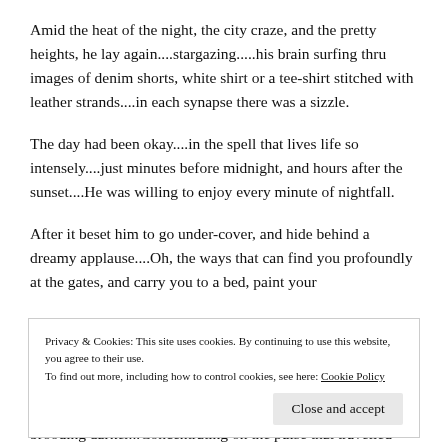Amid the heat of the night, the city craze, and the pretty heights, he lay again....stargazing.....his brain surfing thru images of denim shorts, white shirt or a tee-shirt stitched with leather strands....in each synapse there was a sizzle.
The day had been okay....in the spell that lives life so intensely....just minutes before midnight, and hours after the sunset....He was willing to enjoy every minute of nightfall.
After it beset him to go under-cover, and hide behind a dreamy applause....Oh, the ways that can find you profoundly at the gates, and carry you to a bed, paint your
Privacy & Cookies: This site uses cookies. By continuing to use this website, you agree to their use.
To find out more, including how to control cookies, see here: Cookie Policy
Close and accept
brooding darker...Concentrating on the pulse that travelled